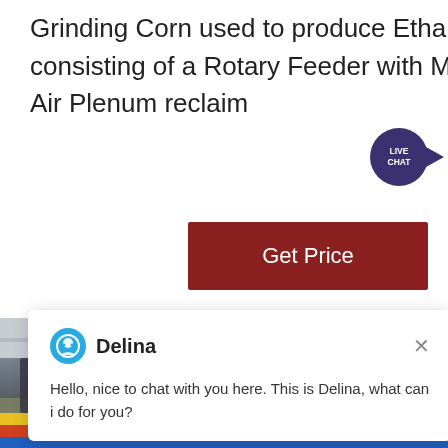Grinding Corn used to produce Ethanol Each hammer mill system consisting of a Rotary Feeder with Magnet 300 HP Hammer Mill dedicated Air Plenum reclaim
[Figure (screenshot): Live Chat bubble icon with dark purple circle and speech bubble tail, labeled LIVE CHAT]
[Figure (screenshot): Dark red Get Price button]
[Figure (screenshot): Live chat popup with Delina avatar and greeting message, overlaid on industrial machinery photo showing hammer mill equipment in a factory. Blue circle with number 1 in lower right.]